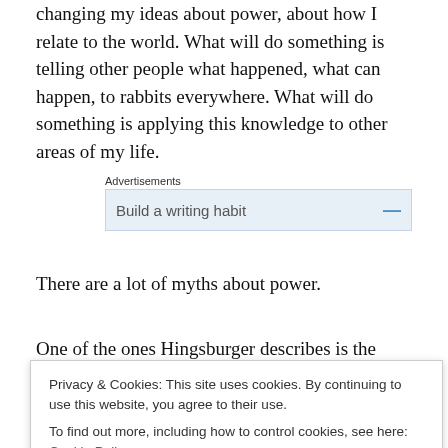changing my ideas about power, about how I relate to the world. What will do something is telling other people what happened, what can happen, to rabbits everywhere. What will do something is applying this knowledge to other areas of my life.
[Figure (screenshot): Advertisement block showing 'Advertisements' label above a light blue box with text 'Build a writing habit' and a blue minus/close icon on the right.]
There are a lot of myths about power.
One of the ones Hingsburger describes is the myth of not
Privacy & Cookies: This site uses cookies. By continuing to use this website, you agree to their use.
To find out more, including how to control cookies, see here: Cookie Policy
[Close and accept button]
hierarchy. They can use their "powerlessness" as an